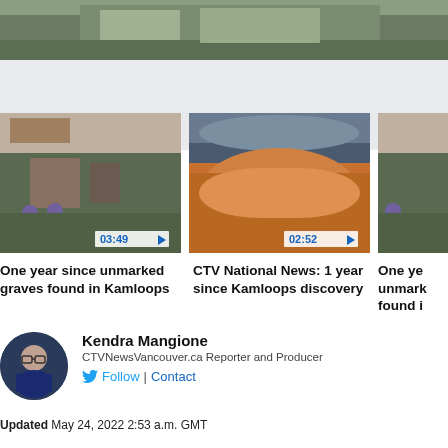[Figure (photo): Aerial or overhead photo showing a memorial site with flowers/items on grass, partially visible at top of page]
[Figure (photo): Video thumbnail: people standing near a dark stone monument outside a red brick building. Duration: 03:49]
[Figure (photo): Video thumbnail: large crowd gathered at an outdoor venue/stadium. Duration: 02:52]
[Figure (photo): Video thumbnail: partially visible, similar scene to first thumbnail]
One year since unmarked graves found in Kamloops
CTV National News: 1 year since Kamloops discovery
One year since unmarked graves found in...
Kendra Mangione
CTVNewsVancouver.ca Reporter and Producer
Follow | Contact
Updated May 24, 2022 2:53 a.m. GMT
Published May 23, 2022 1:24 p.m. GMT